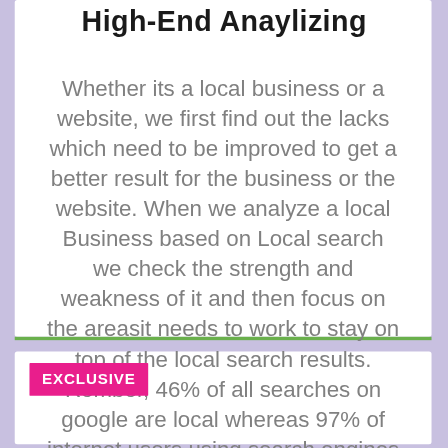High-End Anaylizing
Whether its a local business or a website, we first find out the lacks which need to be improved to get a better result for the business or the website. When we analyze a local Business based on Local search we check the strength and weakness of it and then focus on the areasit needs to work to stay on top of the local search results. Rember, 46% of all searches on google are local whereas 97% of internet users using search engines to find a local business.
EXCLUSIVE